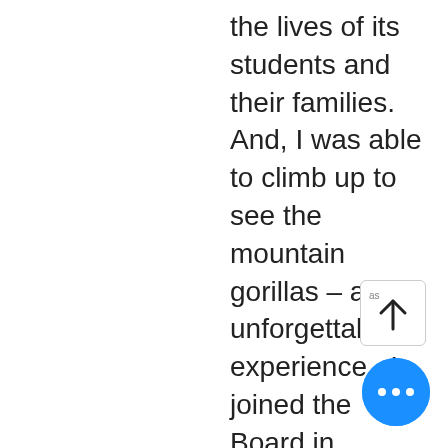the lives of its students and their families. And, I was able to climb up to see the mountain gorillas – an unforgettable experience.  I joined the Board in January 2020.  A lifelong Seattleite, I own a Real Estate Development Co. with my son.  I enjoy spending time with my adult son and daughter, as well as my two Labrador Retrievers.
[Figure (other): Scroll-up button with upward arrow and small label 'as']
[Figure (other): Blue circular more/menu button with three white dots]